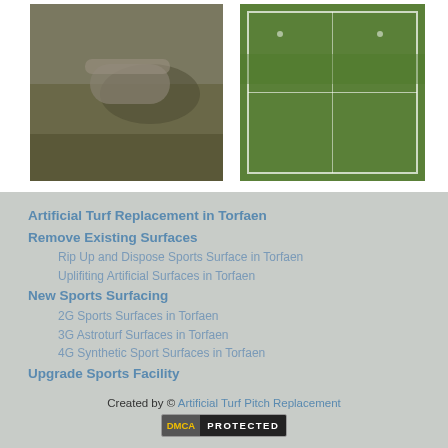[Figure (photo): Photo of artificial turf being rolled up or installed, showing grass and rolled turf material]
[Figure (photo): Aerial photo of a sports pitch with green artificial turf and white line markings, surrounded by fencing]
Artificial Turf Replacement in Torfaen
Remove Existing Surfaces
Rip Up and Dispose Sports Surface in Torfaen
Uplifiting Artificial Surfaces in Torfaen
New Sports Surfacing
2G Sports Surfaces in Torfaen
3G Astroturf Surfaces in Torfaen
4G Synthetic Sport Surfaces in Torfaen
Upgrade Sports Facility
Sports Court Equipment in Torfaen
Upgrading Sports Pitch Sub Base in Torfaen
Sports Fencing Renovation in Torfaen
Created by © Artificial Turf Pitch Replacement